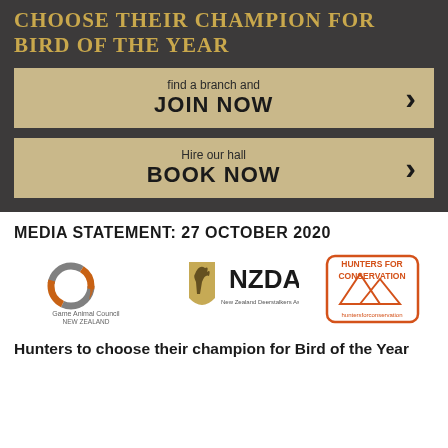CHOOSE THEIR CHAMPION FOR BIRD OF THE YEAR
find a branch and JOIN NOW
Hire our hall BOOK NOW
MEDIA STATEMENT: 27 OCTOBER 2020
[Figure (logo): Three logos: Game Animal Council New Zealand, NZDA New Zealand Deerstalkers Association, Hunters for Conservation]
Hunters to choose their champion for Bird of the Year